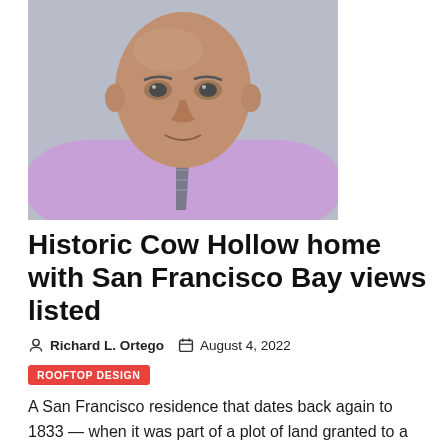[Figure (photo): Professional headshot of a middle-aged bald man wearing a lavender/purple dress shirt and grey striped tie, photographed against a grey background.]
Historic Cow Hollow home with San Francisco Bay views listed
Richard L. Ortego  August 4, 2022
ROOFTOP DESIGN
A San Francisco residence that dates back again to 1833 — when it was part of a plot of land granted to a calvaryman at...